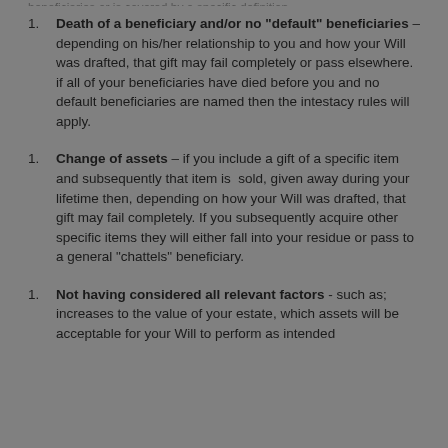Death of a beneficiary and/or no "default" beneficiaries – depending on his/her relationship to you and how your Will was drafted, that gift may fail completely or pass elsewhere. if all of your beneficiaries have died before you and no default beneficiaries are named then the intestacy rules will apply.
Change of assets – if you include a gift of a specific item and subsequently that item is sold, given away during your lifetime then, depending on how your Will was drafted, that gift may fail completely. If you subsequently acquire other specific items they will either fall into your residue or pass to a general "chattels" beneficiary.
Not having considered all relevant factors - such as; increases to the value of your estate, which assets will be acceptable for your Will to perform as intended...